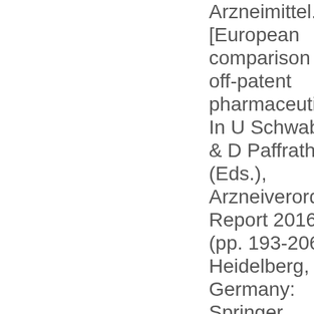Arzneimittel. [European comparison of off-patent pharmaceuticals]. In U Schwabe & D Paffrath (Eds.), Arzneiverordnungs-Report 2016 (pp. 193-206). Heidelberg, Germany: Springer Verlag.